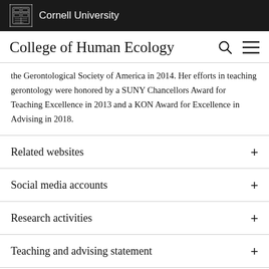Cornell University
College of Human Ecology
the Gerontological Society of America in 2014. Her efforts in teaching gerontology were honored by a SUNY Chancellors Award for Teaching Excellence in 2013 and a KON Award for Excellence in Advising in 2018.
Related websites
Social media accounts
Research activities
Teaching and advising statement